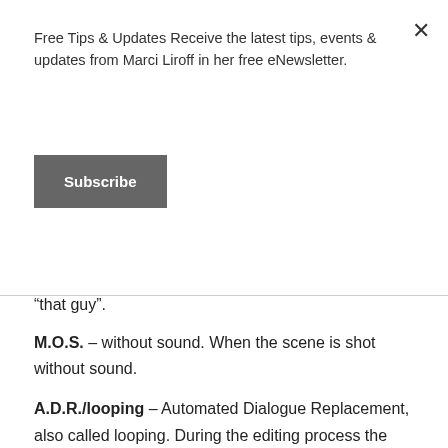Free Tips & Updates Receive the latest tips, events & updates from Marci Liroff in her free eNewsletter.
Subscribe
“that guy”.
M.O.S. – without sound. When the scene is shot without sound.
A.D.R./looping – Automated Dialogue Replacement, also called looping. During the editing process the actor is called back to re-record their voice. In a sound studio the scene is played back for the actor who re-records their lines sometimes due to outside sound such as an airplane overhead or to get a better performance. Sometimes entire performances are looped – Andie MacDowall’s performance in Tarzan was looped